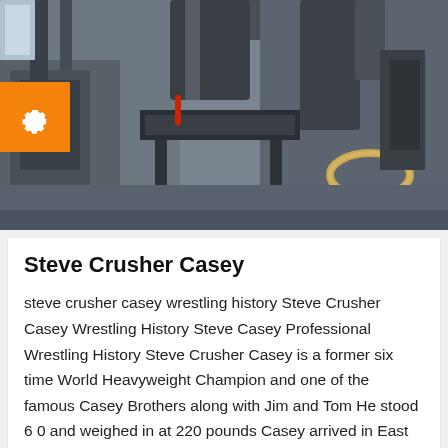[Figure (photo): Industrial facility interior showing heavy machinery, conveyor belts, pipes, and metal equipment in a large warehouse-like space. A diagonal conveyor with brown/rust-colored elements runs from lower left to upper center.]
Steve Crusher Casey
steve crusher casey wrestling history Steve Crusher Casey Wrestling History Steve Casey Professional Wrestling History Steve Crusher Casey is a former six time World Heavyweight Champion and one of the famous Casey Brothers along with Jim and Tom He stood 6 0 and weighed in at 220 pounds Casey arrived in East Boston in 1936 from County Kerry Ireland ready